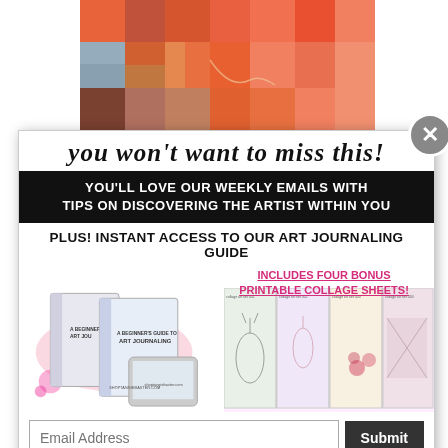[Figure (illustration): Abstract color block collage artwork in orange, red, brown, beige tones]
[Figure (screenshot): Popup modal with newsletter signup: 'YOU WON'T WANT TO MISS THIS!' heading, black banner with white text about weekly emails, art journaling guide offer with book images, collage sheets, email input and submit button]
whatever by color family.  I highly recommend